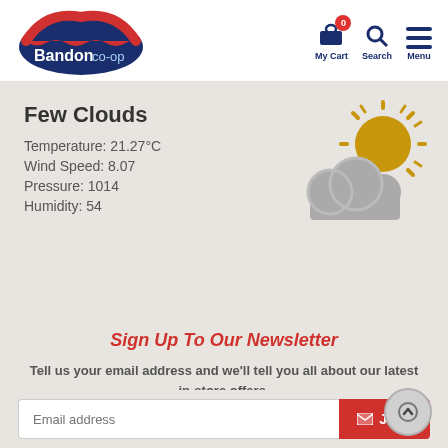[Figure (logo): Bandon co-op logo — oval dark blue background with red arch and white text 'Bandon co-op']
[Figure (infographic): Navigation icons: cart with badge '0', search magnifier, hamburger menu — labeled My Cart, Search, Menu]
Few Clouds
Temperature: 21.27°C
Wind Speed: 8.07
Pressure: 1014
Humidity: 54
[Figure (illustration): Partly cloudy weather icon: golden sun behind a grey cloud]
Sign Up To Our Newsletter
Tell us your email address and we'll tell you all about our latest in-store offers.